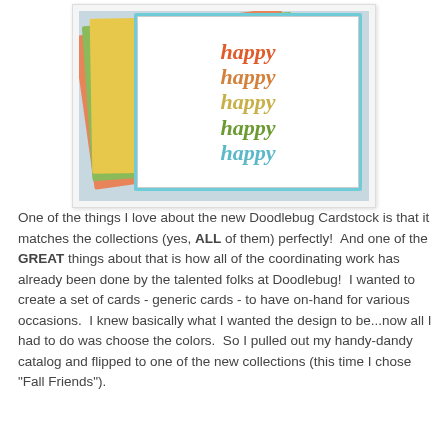[Figure (photo): A stack of handmade greeting cards fanned out, with the top card featuring the word 'happy' repeated five times in different colors (orange, gold, yellow-green, green, teal) in a script/italic font on a white background with a teal/aqua border.]
One of the things I love about the new Doodlebug Cardstock is that it matches the collections (yes, ALL of them) perfectly!  And one of the GREAT things about that is how all of the coordinating work has already been done by the talented folks at Doodlebug!  I wanted to create a set of cards - generic cards - to have on-hand for various occasions.  I knew basically what I wanted the design to be...now all I had to do was choose the colors.  So I pulled out my handy-dandy catalog and flipped to one of the new collections (this time I chose "Fall Friends").